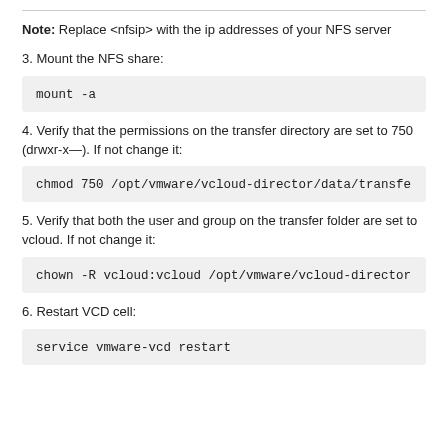Note: Replace <nfsip> with the ip addresses of your NFS server
3. Mount the NFS share:
mount -a
4. Verify that the permissions on the transfer directory are set to 750 (drwxr-x—). If not change it:
chmod 750 /opt/vmware/vcloud-director/data/transfe
5. Verify that both the user and group on the transfer folder are set to vcloud. If not change it:
chown -R vcloud:vcloud /opt/vmware/vcloud-director
6. Restart VCD cell:
service vmware-vcd restart